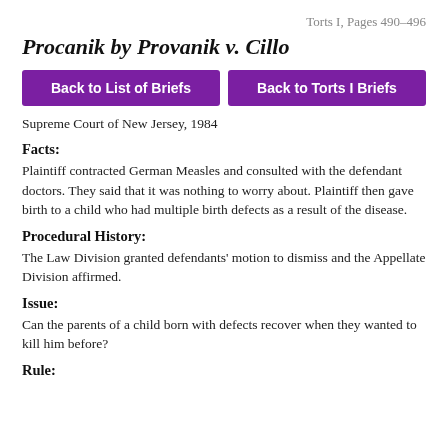Torts I, Pages 490–496
Procanik by Provanik v. Cillo
Back to List of Briefs
Back to Torts I Briefs
Supreme Court of New Jersey, 1984
Facts:
Plaintiff contracted German Measles and consulted with the defendant doctors. They said that it was nothing to worry about. Plaintiff then gave birth to a child who had multiple birth defects as a result of the disease.
Procedural History:
The Law Division granted defendants' motion to dismiss and the Appellate Division affirmed.
Issue:
Can the parents of a child born with defects recover when they wanted to kill him before?
Rule: